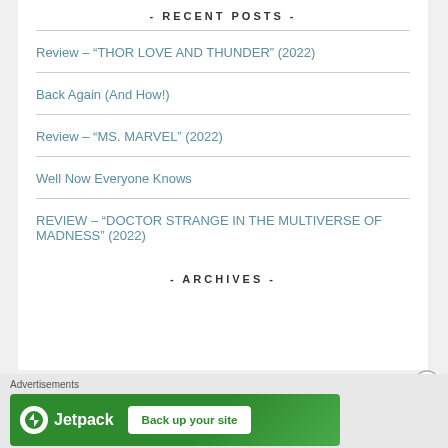- RECENT POSTS -
Review – "THOR LOVE AND THUNDER" (2022)
Back Again (And How!)
Review – "MS. MARVEL" (2022)
Well Now Everyone Knows
REVIEW – "DOCTOR STRANGE IN THE MULTIVERSE OF MADNESS" (2022)
- ARCHIVES -
Advertisements
[Figure (logo): Jetpack advertisement banner with logo and 'Back up your site' button on green background]